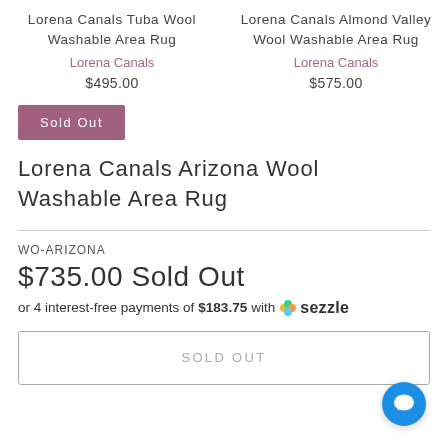Lorena Canals Tuba Wool Washable Area Rug
Lorena Canals
$495.00
Lorena Canals Almond Valley Wool Washable Area Rug
Lorena Canals
$575.00
Sold Out
Lorena Canals Arizona Wool Washable Area Rug
WO-ARIZONA
$735.00 Sold Out
or 4 interest-free payments of $183.75 with  sezzle
SOLD OUT